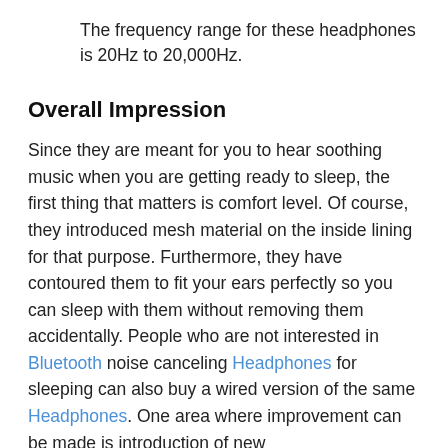The frequency range for these headphones is 20Hz to 20,000Hz.
Overall Impression
Since they are meant for you to hear soothing music when you are getting ready to sleep, the first thing that matters is comfort level. Of course, they introduced mesh material on the inside lining for that purpose. Furthermore, they have contoured them to fit your ears perfectly so you can sleep with them without removing them accidentally. People who are not interested in Bluetooth noise canceling Headphones for sleeping can also buy a wired version of the same Headphones. One area where improvement can be made is introduction of new